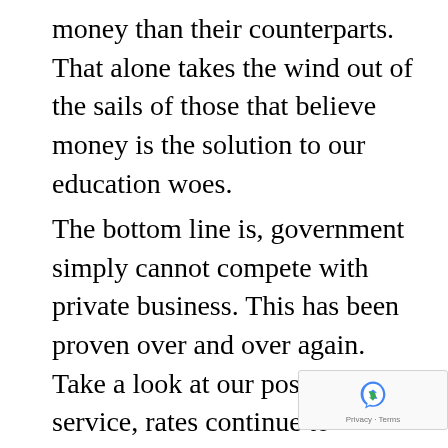money than their counterparts. That alone takes the wind out of the sails of those that believe money is the solution to our education woes.
The bottom line is, government simply cannot compete with private business. This has been proven over and over again. Take a look at our postal service, rates continue to increase while service and dependability decreases. Those of us in business have no option but to succeed, because we don't have a safety net. We're much more cautious with the allocation of resources because we have a limited supply and must spend wisely. This conc...